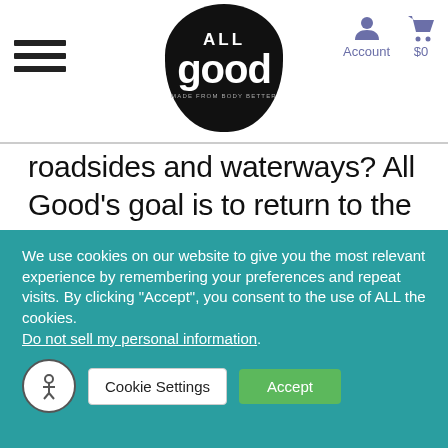ALL good — Account $0
roadsides and waterways? All Good’s goal is to return to the free and wild world that we once had, through our commitment to a plastic-free future and our initiatives to be carbon neutral. That’s why we are taking important steps to support and encourage the...
We use cookies on our website to give you the most relevant experience by remembering your preferences and repeat visits. By clicking “Accept”, you consent to the use of ALL the cookies. Do not sell my personal information.